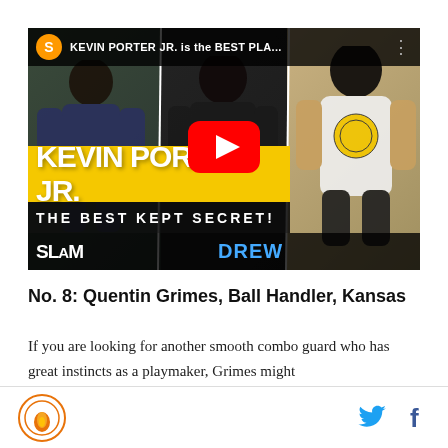[Figure (screenshot): YouTube video thumbnail for SLAM Magazine video titled 'KEVIN PORTER JR. is the BEST PLA...' showing three basketball players with text 'KEVIN PORTER JR. THE BEST KEPT SECRET!' with SLAM and DREW logos, and a YouTube play button overlay.]
No. 8: Quentin Grimes, Ball Handler, Kansas
If you are looking for another smooth combo guard who has great instincts as a playmaker, Grimes might